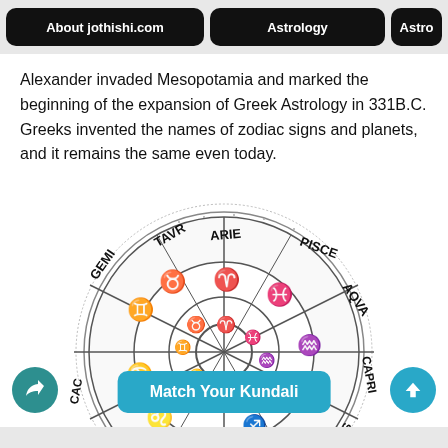About jothishi.com | Astrology | Astro
Alexander invaded Mesopotamia and marked the beginning of the expansion of Greek Astrology in 331B.C. Greeks invented the names of zodiac signs and planets, and it remains the same even today.
[Figure (illustration): Ancient zodiac wheel diagram showing the 12 zodiac signs (Aries, Pisces, Aquarius, Capricorn, Sagittarius, etc.) arranged in a circular chart with symbols and illustrations, black and white line art.]
Match Your Kundali